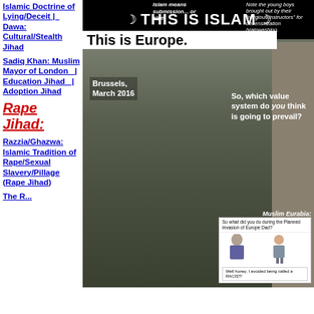Islamic Doctrine of Lying/Deceit | Dawa: Cultural/Stealth Jihad
Sadiq Khan: Muslim Mayor of London | Education Jihad | Adoption Jihad
Rape Jihad:
Razzia/Ghazwa: Islamic Tradition of Rape/Sexual Slavery/Pillage (Rape Jihad)
The R...
[Figure (photo): Anti-Islam propaganda composite image showing a photo of a man kneeling in grief at Brussels March 2016 memorial overlaid with text 'THIS IS ISLAM' and 'This is Europe.' with annotations about Islam meaning submission, notes about young boys, question about which value system will prevail, Muslim Eurabia label, and a cartoon about avoiding being called a racist.]